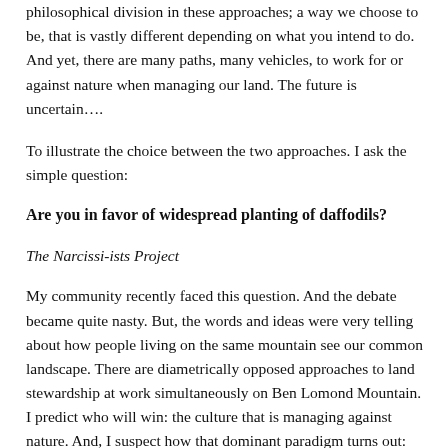philosophical division in these approaches; a way we choose to be, that is vastly different depending on what you intend to do. And yet, there are many paths, many vehicles, to work for or against nature when managing our land. The future is uncertain….
To illustrate the choice between the two approaches. I ask the simple question:
Are you in favor of widespread planting of daffodils?
The Narcissi-ists Project
My community recently faced this question. And the debate became quite nasty. But, the words and ideas were very telling about how people living on the same mountain see our common landscape. There are diametrically opposed approaches to land stewardship at work simultaneously on Ben Lomond Mountain. I predict who will win: the culture that is managing against nature. And, I suspect how that dominant paradigm turns out: global warming, a world on fire, not enough food, not enough clean water, miserable people, extinct